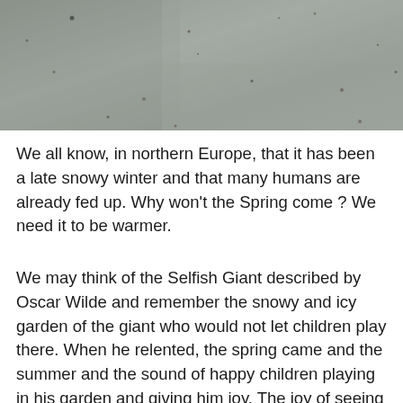[Figure (photo): A close-up photo of a textured grey surface, appearing to be concrete or stone with small dark speckles and dust particles.]
We all know, in northern Europe, that it has been a late snowy winter and that many humans are already fed up. Why won't the Spring come ? We need it to be warmer.
We may think of the Selfish Giant described by Oscar Wilde and remember the snowy and icy garden of the giant who would not let children play there. When he relented, the spring came and the summer and the sound of happy children playing in his garden and giving him joy. The joy of seeing others happy was perhaps greater than seeing the beauty of nature. Quite something to think